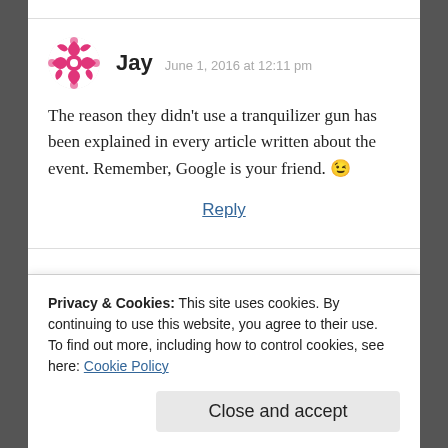Jay  June 1, 2016 at 12:11 pm
The reason they didn't use a tranquilizer gun has been explained in every article written about the event. Remember, Google is your friend. 😉
Reply
Privacy & Cookies: This site uses cookies. By continuing to use this website, you agree to their use.
To find out more, including how to control cookies, see here: Cookie Policy
Close and accept